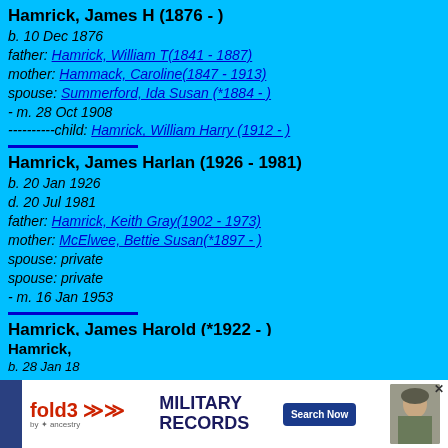Hamrick, James H (1876 - )
b. 10 Dec 1876
father: Hamrick, William T(1841 - 1887)
mother: Hammack, Caroline(1847 - 1913)
spouse: Summerford, Ida Susan (*1884 - )
- m. 28 Oct 1908
----------child: Hamrick, William Harry (1912 - )
Hamrick, James Harlan (1926 - 1981)
b. 20 Jan 1926
d. 20 Jul 1981
father: Hamrick, Keith Gray(1902 - 1973)
mother: McElwee, Bettie Susan(*1897 - )
spouse: private
spouse: private
- m. 16 Jan 1953
Hamrick, James Harold (*1922 - )
father: Hamrick, William David(1887 - )
mother: Green, Margie(*1892 - )
spouse: private
spouse: private
Hamrick, [partial]
b. 28 Jan 18[partial]
[Figure (other): fold3 by Ancestry Military Records advertisement banner with Search Now button]